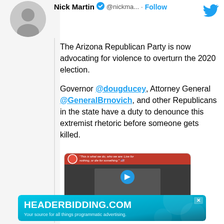[Figure (photo): Profile photo of Nick Martin, a man in a circular avatar crop, shown in grayscale]
Nick Martin ✓ @nickma... · Follow
The Arizona Republican Party is now advocating for violence to overturn the 2020 election.

Governor @dougducey, Attorney General @GeneralBrnovich, and other Republicans in the state have a duty to denounce this extremist rhetoric before someone gets killed.
[Figure (screenshot): Embedded tweet/video preview showing a red banner with an eagle logo and quote 'This is what we do, who we are: Live for nothing, or die for something.' with an image of a person below and a blue play button]
[Figure (other): Advertisement banner for HEADERBIDDING.COM with teal/blue gradient background reading 'HEADERBIDDING.COM Your source for all things programmatic advertising.']